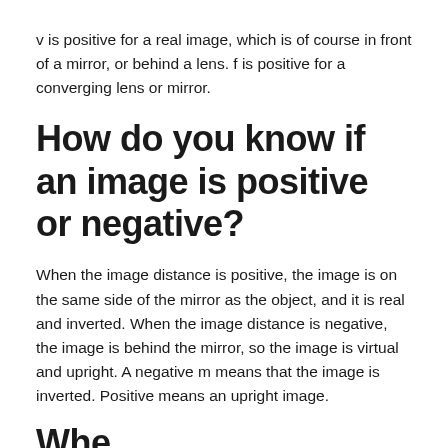v is positive for a real image, which is of course in front of a mirror, or behind a lens. f is positive for a converging lens or mirror.
How do you know if an image is positive or negative?
When the image distance is positive, the image is on the same side of the mirror as the object, and it is real and inverted. When the image distance is negative, the image is behind the mirror, so the image is virtual and upright. A negative m means that the image is inverted. Positive means an upright image.
Whe...